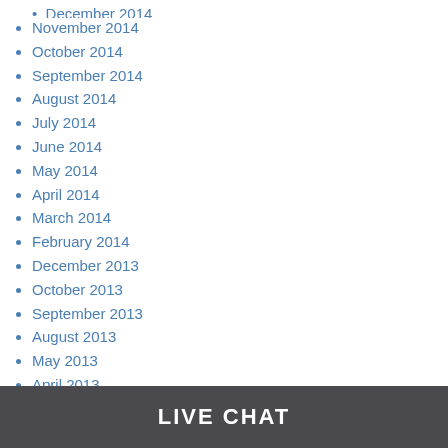November 2014
October 2014
September 2014
August 2014
July 2014
June 2014
May 2014
April 2014
March 2014
February 2014
December 2013
October 2013
September 2013
August 2013
May 2013
April 2013
February 2013
January 2013
December 2012
November 2012
LIVE CHAT